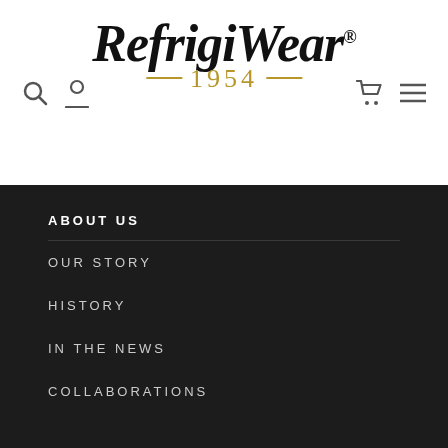RefrigiWear® 1954 — navigation header with search, account, cart, and menu icons
ABOUT US
OUR STORY
HISTORY
IN THE NEWS
COLLABORATIONS
MY ACCOUNT
SIGN IN